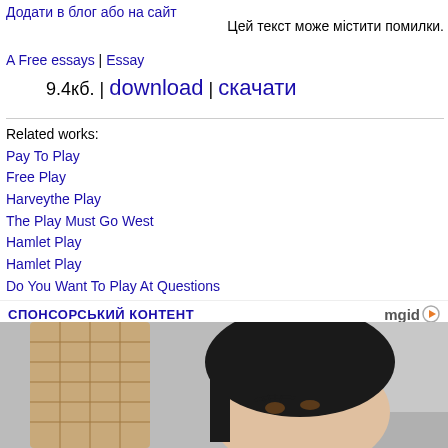Додати в блог або на сайт
Цей текст може містити помилки.
A Free essays | Essay
9.4кб. | download | скачати
Related works:
Pay To Play
Free Play
Harveythe Play
The Play Must Go West
Hamlet Play
Hamlet Play
Do You Want To Play At Questions
Macbeth Play
Othello Play
СПОНСОРСЬКИЙ КОНТЕНТ
[Figure (photo): Person holding an ice cream cone, selfie photo]